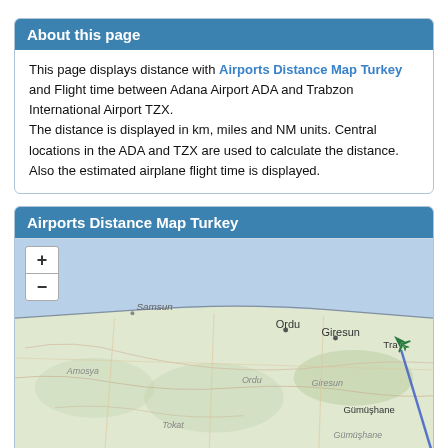About this page
This page displays distance with Airports Distance Map Turkey and Flight time between Adana Airport ADA and Trabzon International Airport TZX. The distance is displayed in km, miles and NM units. Central locations in the ADA and TZX are used to calculate the distance. Also the estimated airplane flight time is displayed.
Airports Distance Map Turkey
[Figure (map): Map of Turkey's Black Sea coast showing flight path from Adana Airport (ADA) to Trabzon International Airport (TZX). The map shows cities including Samsun, Ordu, Giresun, Gümüşhane, Amosya, Tokat, with a diagonal blue line indicating the flight route and an airplane icon near Trabzon. Zoom in/out controls are visible on the upper left.]